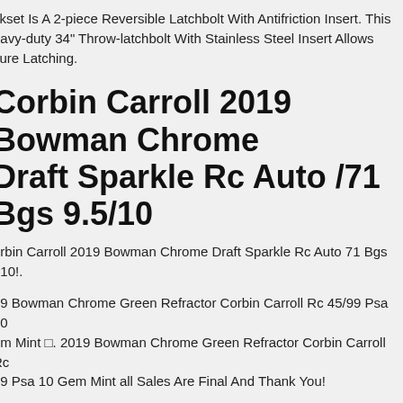ckset Is A 2-piece Reversible Latchbolt With Antifriction Insert. This eavy-duty 34" Throw-latchbolt With Stainless Steel Insert Allows cure Latching.
Corbin Carroll 2019 Bowman Chrome Draft Sparkle Rc Auto /71 Bgs 9.5/10
orbin Carroll 2019 Bowman Chrome Draft Sparkle Rc Auto 71 Bgs 510!.
19 Bowman Chrome Green Refractor Corbin Carroll Rc 45/99 Psa 10 em Mint  . 2019 Bowman Chrome Green Refractor Corbin Carroll Rc 99 Psa 10 Gem Mint all Sales Are Final And Thank You!
l Ralph Lauren Corbin Leather Messenger Crossbody Bag Briefcase ith Men New. Condition Rank S. (duration Varies By Country And egion). Material Leather. S New, Unused. B There Is A Feeling Of Use ormal Second-hand Goods. Shoulder Strap Length About 95 To 5cm.